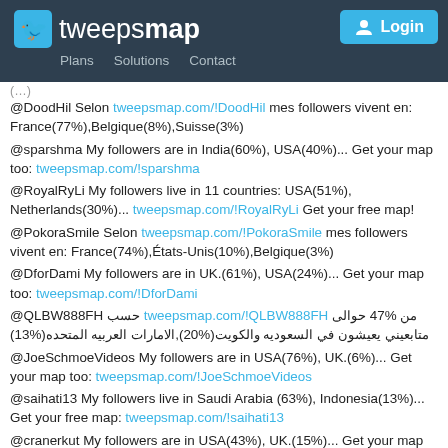tweepsmap — Plans  Solutions  Contact  Login
@DoodHil Selon tweepsmap.com/!DoodHil mes followers vivent en: France(77%),Belgique(8%),Suisse(3%)
@sparshma My followers are in India(60%), USA(40%)... Get your map too: tweepsmap.com/!sparshma
@RoyalRyLi My followers live in 11 countries: USA(51%), Netherlands(30%)... tweepsmap.com/!RoyalRyLi Get your free map!
@PokoraSmile Selon tweepsmap.com/!PokoraSmile mes followers vivent en: France(74%),États-Unis(10%),Belgique(3%)
@DforDami My followers are in UK.(61%), USA(24%)... Get your map too: tweepsmap.com/!DforDami
@QLBW888FH حسب tweepsmap.com/!QLBW888FH من %47 حوالى متابعيني يعيشون في السعوديه والكويت(%20),الامارات العربيه المتحده(%13)
@JoeSchmoeVideos My followers are in USA(76%), UK.(6%)... Get your map too: tweepsmap.com/!JoeSchmoeVideos
@saihati13 My followers live in Saudi Arabia (63%), Indonesia(13%)... Get your free map: tweepsmap.com/!saihati13
@cranerkut My followers are in USA(43%), UK.(15%)... Get your map too: tweepsmap.com/!cranerkut
@EtilimosGaming Selon tweepsmap.com/!EtilimosGaming mes followers vivent en: France(89%),États-Unis(4%),Belgique(4%)
@james_addicott My followers live in 24 countries: UK.(59%), USA(21%)... tweepsmap.com/!james_addicott Get your free map!